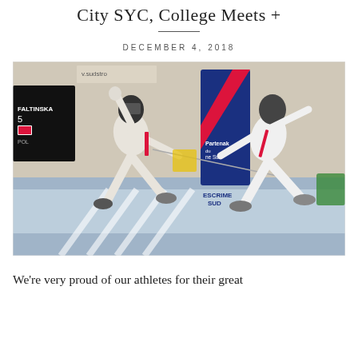City SYC, College Meets +
DECEMBER 4, 2018
[Figure (photo): Two fencers competing in a fencing match at an indoor sports venue. One fencer, labeled FALTINSKA / POL (Poland), lunges forward with a foil. The other fencer in white uniform leans back. In the background is a blue banner reading 'Escrime Sud' and 'Partenaire du ... ne Sud'.]
We're very proud of our athletes for their great